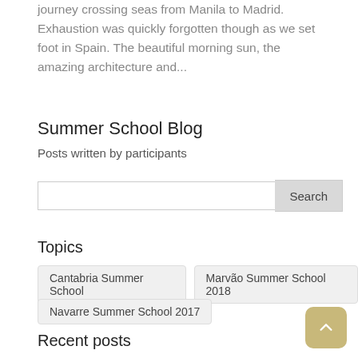journey crossing seas from Manila to Madrid. Exhaustion was quickly forgotten though as we set foot in Spain. The beautiful morning sun, the amazing architecture and...
Summer School Blog
Posts written by participants
[Figure (other): Search input box with Search button]
Topics
Cantabria Summer School
Marvão Summer School 2018
Navarre Summer School 2017
Recent posts